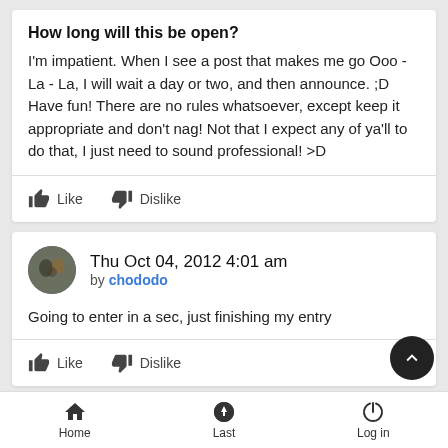How long will this be open?
I'm impatient. When I see a post that makes me go Ooo - La - La, I will wait a day or two, and then announce. ;D Have fun! There are no rules whatsoever, except keep it appropriate and don't nag! Not that I expect any of ya'll to do that, I just need to sound professional! >D
Like  Dislike
Thu Oct 04, 2012 4:01 am
by chododo
Going to enter in a sec, just finishing my entry
Like  Dislike
by Sponsored content
Home  Last  Log in